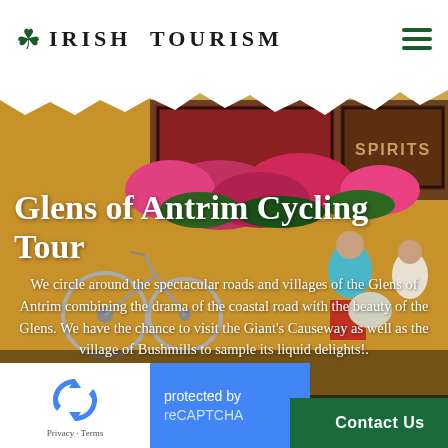IRISH TOURISM
[Figure (photo): Background photo of a colorful Irish street scene with a bicycle, flower baskets, and people near a building with 'Spirits' sign]
Glens of Antrim Cycling Tour
We circle around the spectacular roads and villages of the Glens of Antrim combining the drama of the coastal road with the beauty of the Glens. We have the chance to visit the Giant's Causeway as well as the village of Bushmills to sample its liquid delights!.
[Figure (other): reCAPTCHA widget with Google logo, Privacy and Terms links, and 'protected by reCAPTCHA' text]
Contact Us